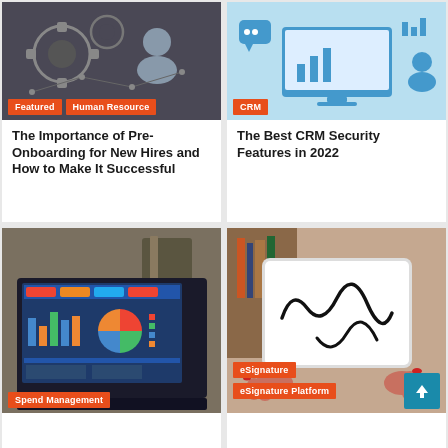[Figure (photo): Dark background with gear icons and a connected network graphic, HR themed image]
Featured | Human Resource
The Importance of Pre-Onboarding for New Hires and How to Make It Successful
[Figure (photo): Light blue background with CRM themed icons including chat bubble, bar chart, and person avatar]
CRM
The Best CRM Security Features in 2022
[Figure (photo): Laptop showing spend management dashboard with bar charts and pie charts, on a wooden desk]
Spend Management
[Figure (photo): Hands holding a white tablet with a cursive signature on the screen]
eSignature | eSignature Platform